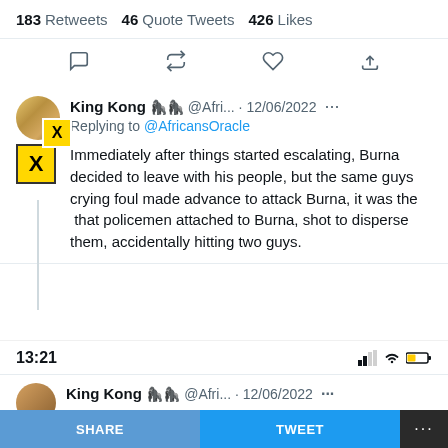183 Retweets  46 Quote Tweets  426 Likes
[Figure (screenshot): Twitter action icons: comment, retweet, like, share]
King Kong 🦍🦍 @Afri... · 12/06/2022 ... Replying to @AfricansOracle Immediately after things started escalating, Burna decided to leave with his people, but the same guys crying foul made advance to attack Burna, it was the that policemen attached to Burna, shot to disperse them, accidentally hitting two guys.
13:21
King Kong 🦍🦍 @Afri... · 12/06/2022 ...
SHARE
TWEET
···